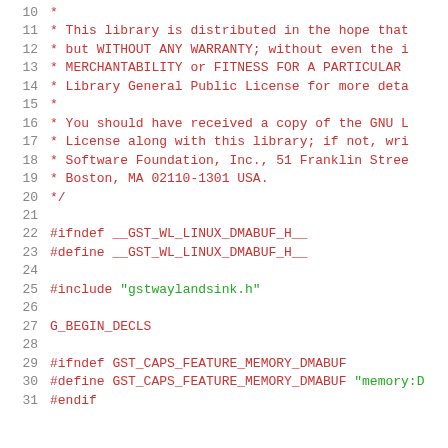10  *
11  * This library is distributed in the hope that
12  * but WITHOUT ANY WARRANTY; without even the i
13  * MERCHANTABILITY or FITNESS FOR A PARTICULAR
14  * Library General Public License for more deta
15  *
16  * You should have received a copy of the GNU L
17  * License along with this library; if not, wri
18  * Software Foundation, Inc., 51 Franklin Stree
19  * Boston, MA 02110-1301 USA.
20  */
21
22  #ifndef __GST_WL_LINUX_DMABUF_H__
23  #define __GST_WL_LINUX_DMABUF_H__
24
25  #include "gstwaylandsink.h"
26
27  G_BEGIN_DECLS
28
29  #ifndef GST_CAPS_FEATURE_MEMORY_DMABUF
30  #define GST_CAPS_FEATURE_MEMORY_DMABUF "memory:D
31  #endif